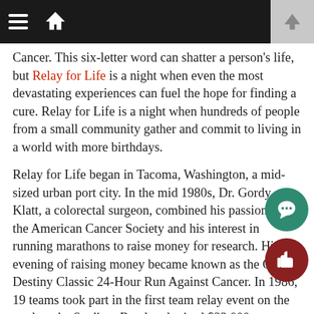Navigation bar with hamburger menu, home icon, and up arrow
Cancer.  This six-letter word can shatter a person's life, but Relay for Life is a night when even the most devastating experiences can fuel the hope for finding a cure.  Relay for Life is a night when hundreds of people from a small community gather and commit to living in a world with more birthdays.
Relay for Life began in Tacoma, Washington, a mid-sized urban port city.  In the mid 1980s, Dr. Gordy Klatt, a colorectal surgeon, combined his passion for the American Cancer Society and his interest in running marathons to raise money for research.  His evening of raising money became known as the City of Destiny Classic 24-Hour Run Against Cancer.  In 1986, 19 teams took part in the first team relay event on the track at the Stadium Bowl and raised $33,000.
Years later, Glen Rock continues the tradition of Relay for Life, coming together for a weekend in May to shed light on those affected within this small town.
"Glen Rock is inspirational because of the participation of students, council members, teachers, community residents